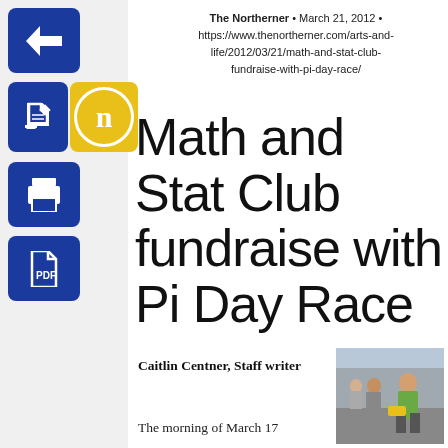The Northerner • March 21, 2012 • https://www.thenortherner.com/arts-and-life/2012/03/21/math-and-stat-club-fundraise-with-pi-day-race/
Math and Stat Club fundraise with Pi Day Race
Caitlin Centner, Staff writer
The morning of March 17
[Figure (photo): People outdoors in a parking lot, one man in a green shirt holding yellow items]